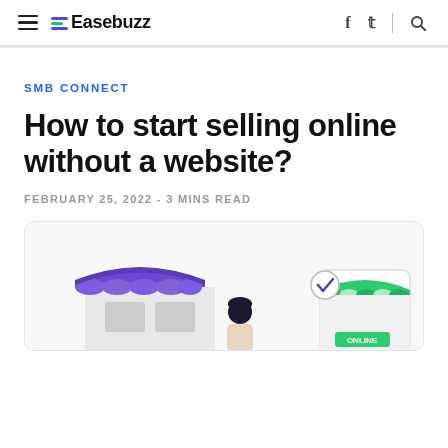Easebuzz
SMB CONNECT
How to start selling online without a website?
FEBRUARY 25, 2022 - 3 MINS READ
[Figure (illustration): Illustration showing a physical store with purple awning on the left, a person in the middle, and an online store with green awning on the right with a checkmark circle and 'ONLINE' label]